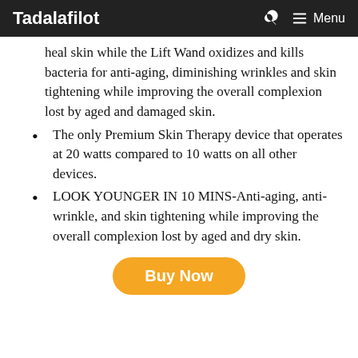Tadalafilot  Menu
heal skin while the Lift Wand oxidizes and kills bacteria for anti-aging, diminishing wrinkles and skin tightening while improving the overall complexion lost by aged and damaged skin.
The only Premium Skin Therapy device that operates at 20 watts compared to 10 watts on all other devices.
LOOK YOUNGER IN 10 MINS-Anti-aging, anti-wrinkle, and skin tightening while improving the overall complexion lost by aged and dry skin.
Buy Now